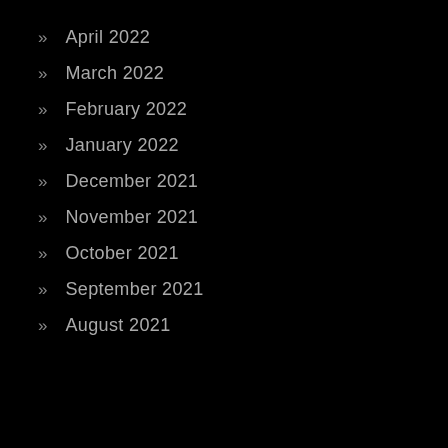April 2022
March 2022
February 2022
January 2022
December 2021
November 2021
October 2021
September 2021
August 2021